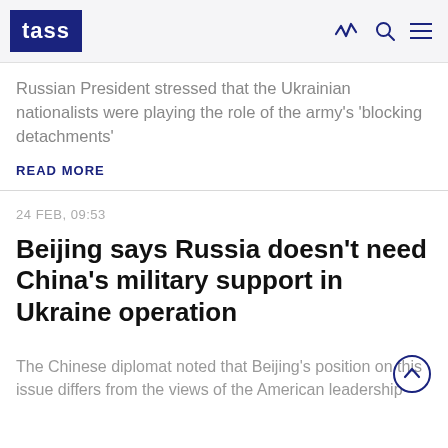TASS
Russian President stressed that the Ukrainian nationalists were playing the role of the army's 'blocking detachments'
READ MORE
24 FEB, 09:53
Beijing says Russia doesn't need China's military support in Ukraine operation
The Chinese diplomat noted that Beijing's position on this issue differs from the views of the American leadership